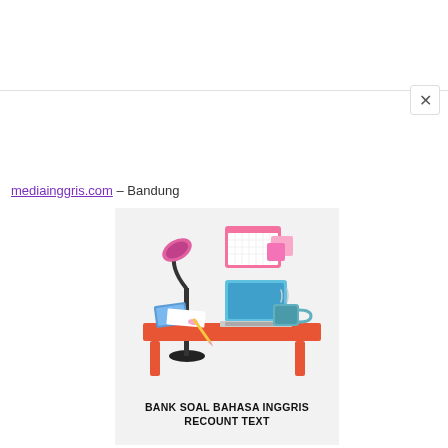mediainggris.com – Bandung
[Figure (illustration): Illustration of a desk with a laptop, lamp, calendar, books, and a mug. Text below reads: BANK SOAL BAHASA INGGRIS RECOUNT TEXT]